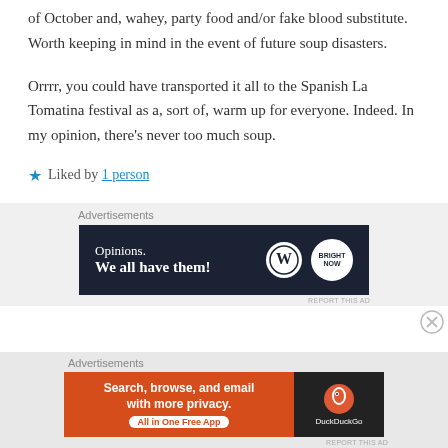of October and, wahey, party food and/or fake blood substitute. Worth keeping in mind in the event of future soup disasters.
Orrrr, you could have transported it all to the Spanish La Tomatina festival as a, sort of, warm up for everyone. Indeed. In my opinion, there's never too much soup.
★ Liked by 1 person
[Figure (other): Advertisement banner: dark navy background with 'Opinions. We all have them!' text and WordPress and Bright Now logos]
[Figure (other): Advertisement banner: orange background with DuckDuckGo 'Search, browse, and email with more privacy. All in One Free App' ad]